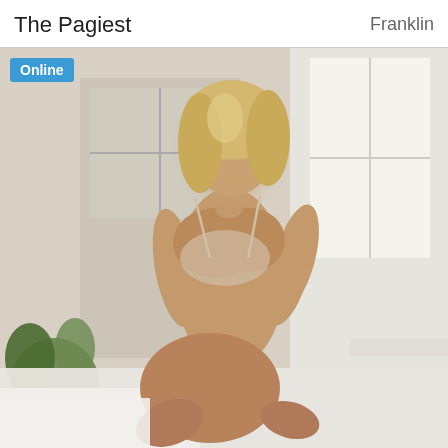The Pagiest    Franklin
[Figure (photo): A blurred-face woman with blonde hair wearing lingerie, kneeling on a bed in a bright room with windows and plants visible in the background. An 'Online' badge is shown in the top-left corner of the image.]